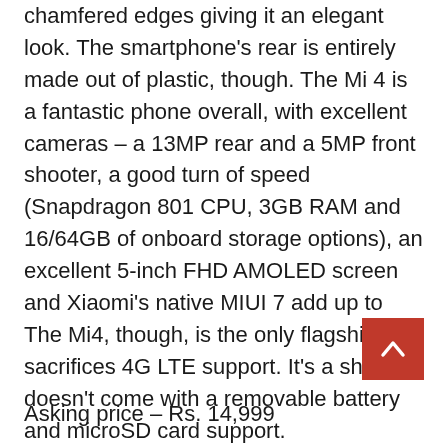chamfered edges giving it an elegant look. The smartphone’s rear is entirely made out of plastic, though. The Mi 4 is a fantastic phone overall, with excellent cameras – a 13MP rear and a 5MP front shooter, a good turn of speed (Snapdragon 801 CPU, 3GB RAM and 16/64GB of onboard storage options), an excellent 5-inch FHD AMOLED screen and Xiaomi’s native MIUI 7 add up to The Mi4, though, is the only flagship that sacrifices 4G LTE support. It’s a shame it doesn’t come with a removable battery and microSD card support.
Asking price – Rs. 14,999